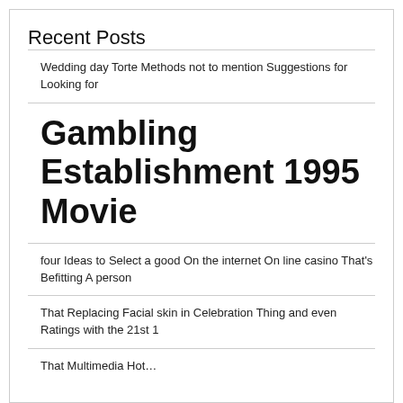Recent Posts
Wedding day Torte Methods not to mention Suggestions for Looking for
Gambling Establishment 1995 Movie
four Ideas to Select a good On the internet On line casino That's Befitting A person
That Replacing Facial skin in Celebration Thing and even Ratings with the 21st 1
That Multimedia Hottest and Gambling…